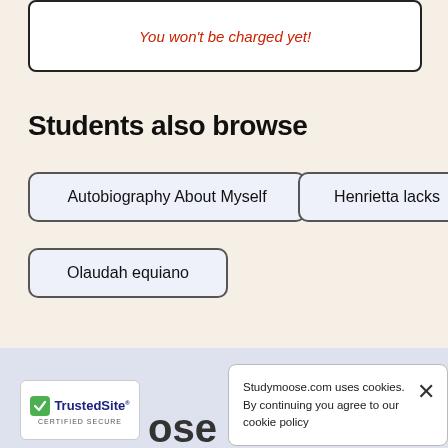You won't be charged yet!
Students also browse
Autobiography About Myself
Henrietta lacks
Olaudah equiano
[Figure (logo): TrustedSite Certified Secure badge with green checkmark]
ose
Studymoose.com uses cookies. By continuing you agree to our cookie policy